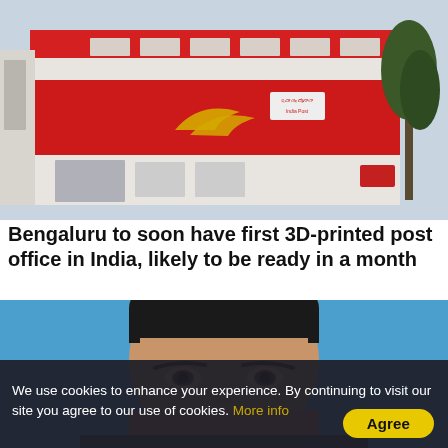[Figure (photo): Exterior of an India Post building with red and white facade and the India Post logo (golden bird/wave design on red background)]
Bengaluru to soon have first 3D-printed post office in India, likely to be ready in a month
[Figure (photo): Close-up of a man's face against a blue background, cropped at forehead and nose level]
We use cookies to enhance your experience. By continuing to visit our site you agree to our use of cookies. More info